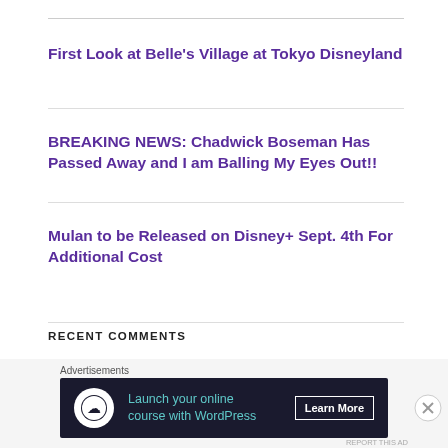First Look at Belle's Village at Tokyo Disneyland
BREAKING NEWS: Chadwick Boseman Has Passed Away and I am Balling My Eyes Out!!
Mulan to be Released on Disney+ Sept. 4th For Additional Cost
RECENT COMMENTS
[Figure (infographic): Advertisement banner: 'Launch your online course with WordPress' with Learn More button on dark background]
Advertisements